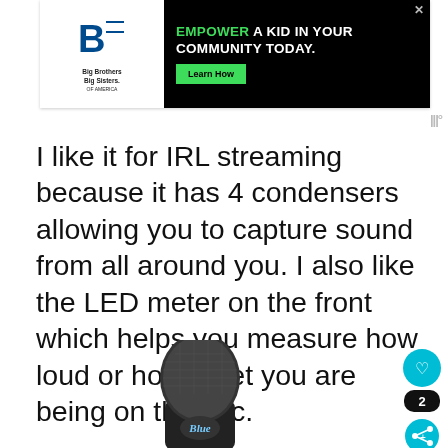[Figure (screenshot): Advertisement banner: Big Brothers Big Sisters logo on left, black background with text 'EMPOWER A KID IN YOUR COMMUNITY TODAY.' in white/green, with green 'Learn How' button and X close button]
I like it for IRL streaming because it has 4 condensers allowing you to capture sound from all around you. I also like the LED meter on the front which helps you measure how loud or how quiet you are being on the mic.
[Figure (photo): Blue Yeti X microphone shown from the front, dark/black metallic color with mesh grille at top, Blue logo visible on body]
[Figure (photo): CES Innovation Awards 2020 Honoree badge/seal]
[Figure (screenshot): Social UI elements: teal heart button, number '2', and teal share button on right side]